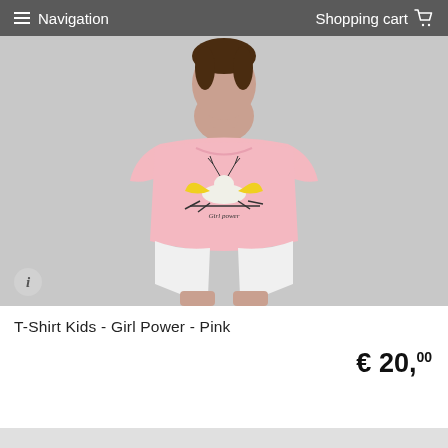Navigation   Shopping cart
[Figure (photo): A child model wearing a pink t-shirt with a 'Girl power' illustration featuring a flying animal with yellow wings, paired with white shorts. Light grey background.]
T-Shirt Kids - Girl Power - Pink
€ 20,00